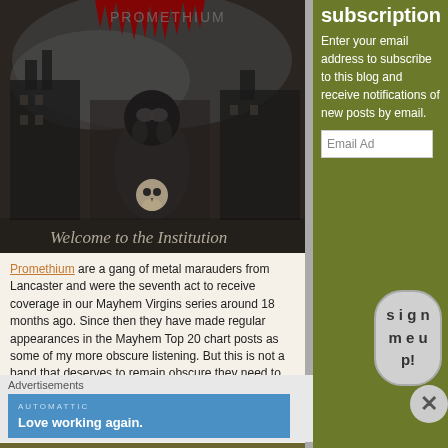[Figure (photo): Album cover for 'Welcome to the Institution' by Promethium, showing a figure in a gas mask holding a skull, with gothic buildings in the background. Title text at bottom reads 'Welcome to the Institution'. Red jagged logo text at top.]
Promethium are a gang of metal marauders from Lancaster and were the seventh act to receive coverage in our Mayhem Virgins series around 18 months ago. Since then they have made regular appearances in the Mayhem Top 20 chart posts as some of my more obscure listening. But this is not a band that deserves to remain obscure they need to be heard. To do that there is no better place to start than with the tenth-anniversary reissue of their stunning and incredibly
subscription
Enter your email address to subscribe to this blog and receive notifications of new posts by email.
Email Ad
s i g n m e u p!
Advertisements
AUTOMATTIC
Love working again.